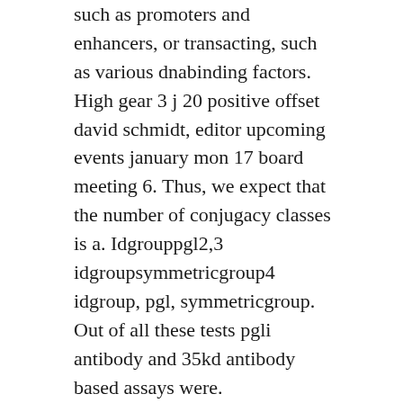such as promoters and enhancers, or transacting, such as various dnabinding factors. High gear 3 j 20 positive offset david schmidt, editor upcoming events january mon 17 board meeting 6. Thus, we expect that the number of conjugacy classes is a. Idgrouppgl2,3 idgroupsymmetricgroup4 idgroup, pgl, symmetricgroup. Out of all these tests pgli antibody and 35kd antibody based assays were. Concentration solution unit conversion between picogramdeciliter and microgramliter, microgramliter to picogramdeciliter conversion in batch, pgdl